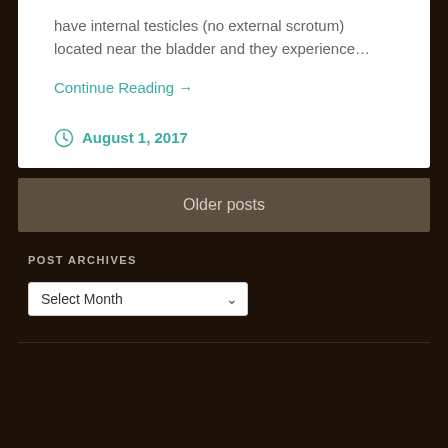have internal testicles (no external scrotum) located near the bladder and they experience…
Continue Reading →
August 1, 2017
Older posts
POST ARCHIVES
Select Month